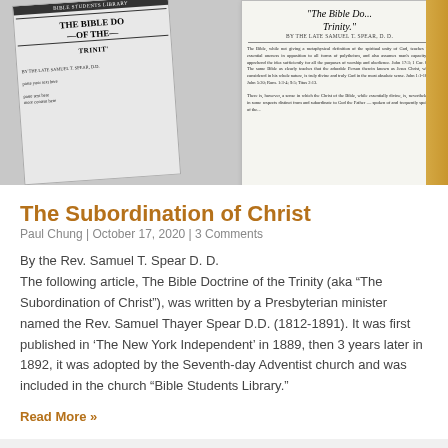[Figure (photo): Two overlapping newspaper/pamphlet pages showing 'The Bible Doctrine of the Trinity' text, with one page showing 'THE BIBLE DO... TRINIT...' in large bold letters and another showing the article text with byline 'BY THE LATE SAMUEL T. SPEAR, D.D.']
The Subordination of Christ
Paul Chung | October 17, 2020 | 3 Comments
By the Rev. Samuel T. Spear D. D.
The following article, The Bible Doctrine of the Trinity (aka “The Subordination of Christ”), was written by a Presbyterian minister named the Rev. Samuel Thayer Spear D.D. (1812-1891). It was first published in ‘The New York Independent’ in 1889, then 3 years later in 1892, it was adopted by the Seventh-day Adventist church and was included in the church “Bible Students Library.”
Read More »